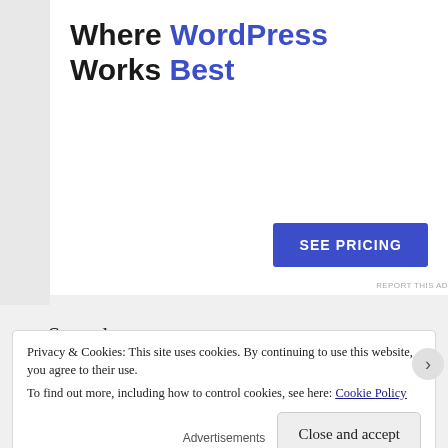[Figure (other): Advertisement banner for WordPress hosting. Heading reads 'Where WordPress Works Best' with 'WordPress' and 'Best' in blue. Blue button labeled 'SEE PRICING'. Small gray text 'REPORT THIS AD' at bottom right.]
Scared.
Excited.
Motivated.
Privacy & Cookies: This site uses cookies. By continuing to use this website, you agree to their use.
To find out more, including how to control cookies, see here: Cookie Policy
Close and accept
Advertisements